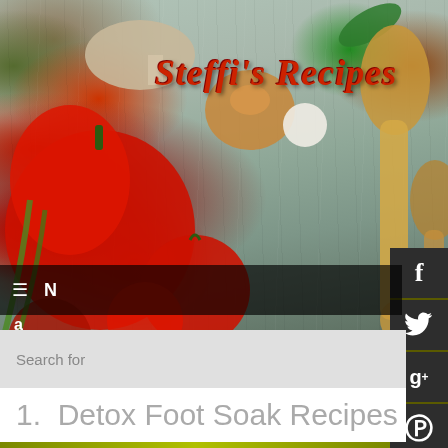[Figure (photo): Food blog header photo showing vegetables (red bell peppers, tomatoes, onions, garlic, mushrooms, cucumber, green onions) on a rustic wooden board background with wooden spoons on the right side]
Steffi's Recipes
[Figure (screenshot): Social media sidebar buttons on dark background: Facebook (f), Twitter (bird), Google+ (g+), Pinterest (p), YouTube (You Tube), RSS feed icon]
≡  N
a
Search for
1.  Detox Foot Soak Recipes